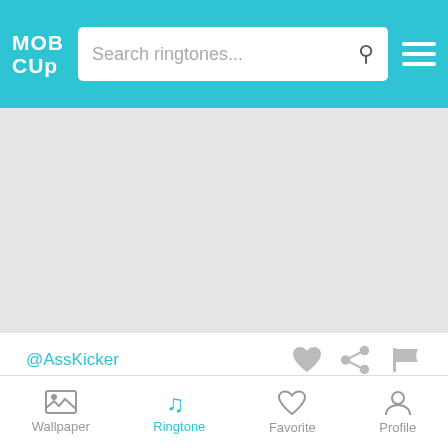MOB CUP — Search ringtones...
[Figure (other): Gray advertisement/banner placeholder area]
@AssKicker
Cartoon Sounds Ringtone
[Figure (other): Circular teal play button]
25 Sec   235 Downloads
Wallpaper  Ringtone  Favorite  Profile